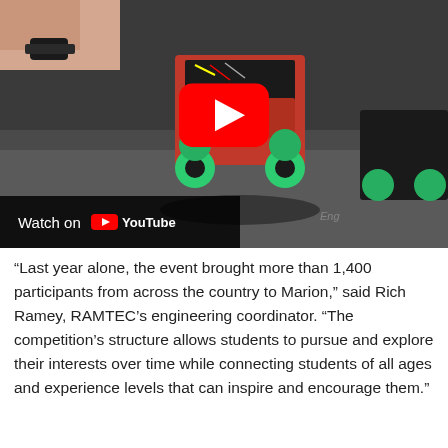[Figure (screenshot): Video thumbnail showing a small red wheeled robot on a dark surface with green wheels and electronics visible. A red YouTube play button overlay is shown in the center. A 'Watch on YouTube' bar appears in the bottom-left corner.]
“Last year alone, the event brought more than 1,400 participants from across the country to Marion,” said Rich Ramey, RAMTEC’s engineering coordinator. “The competition’s structure allows students to pursue and explore their interests over time while connecting students of all ages and experience levels that can inspire and encourage them.”